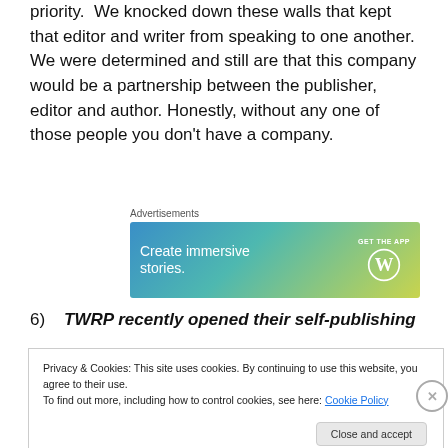priority.  We knocked down these walls that kept that editor and writer from speaking to one another.  We were determined and still are that this company would be a partnership between the publisher, editor and author.  Honestly, without any one of those people you don't have a company.
[Figure (other): WordPress advertisement banner with gradient blue-teal-yellow background. Text reads 'Create immersive stories.' with 'GET THE APP' and WordPress logo on the right.]
Advertisements
6)    TWRP recently opened their self-publishing
Privacy & Cookies: This site uses cookies. By continuing to use this website, you agree to their use.
To find out more, including how to control cookies, see here: Cookie Policy